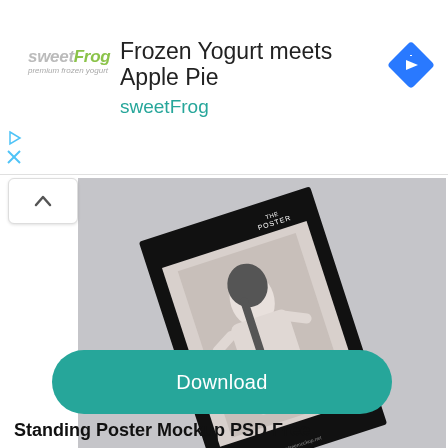[Figure (screenshot): Ad banner for sweetFrog frozen yogurt. Shows sweetFrog logo in pink/green italic text, ad headline 'Frozen Yogurt meets Apple Pie' with 'sweetFrog' subtitle in teal, and a blue diamond navigation badge icon on the right. Small play and close icons on the left.]
[Figure (photo): Product mockup photo: a poster with black border displayed at an angle on a gray background. The poster shows a woman in a white outfit, with small text 'THE POSTER' at the top right corner.]
Download
Standing Poster Mockup PSD Free